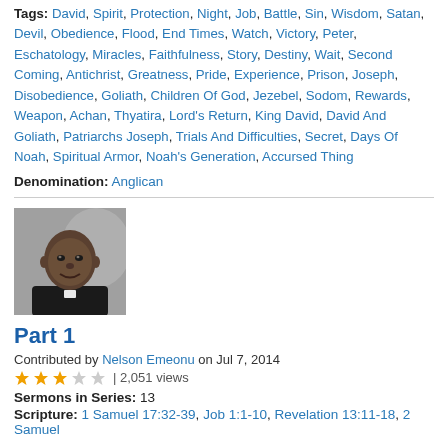Tags: David, Spirit, Protection, Night, Job, Battle, Sin, Wisdom, Satan, Devil, Obedience, Flood, End Times, Watch, Victory, Peter, Eschatology, Miracles, Faithfulness, Story, Destiny, Wait, Second Coming, Antichrist, Greatness, Pride, Experience, Prison, Joseph, Disobedience, Goliath, Children Of God, Jezebel, Sodom, Rewards, Weapon, Achan, Thyatira, Lord's Return, King David, David And Goliath, Patriarchs Joseph, Trials And Difficulties, Secret, Days Of Noah, Spiritual Armor, Noah's Generation, Accursed Thing
Denomination: Anglican
[Figure (photo): Black and white portrait photo of a man in dark clerical clothing, smiling slightly]
Part 1
Contributed by Nelson Emeonu on Jul 7, 2014
★★★☆☆ | 2,051 views
Sermons in Series: 13
Scripture: 1 Samuel 17:32-39, Job 1:1-10, Revelation 13:11-18, 2 Samuel